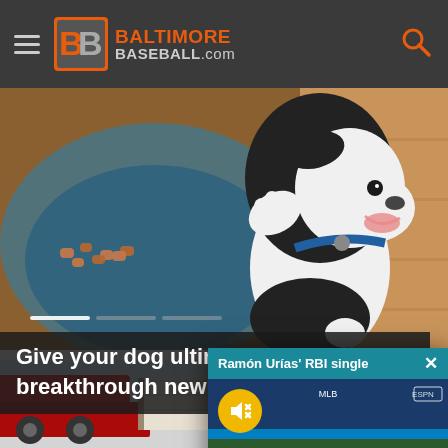BaltimoreBaseball.com
[Figure (photo): A happy black and white dog with paw raised, sitting near a bowl of dog food, photographed from below]
Give your dog ultima... breakthrough new fo...
[Figure (screenshot): Video popup overlay titled 'Ramón Urías' RBI single' showing a baseball game scene with players on field, umpire crouching, with a muted audio icon overlay]
[Figure (photo): Bottom of page showing a red truck and trailer in a parking lot under a pale blue sky]